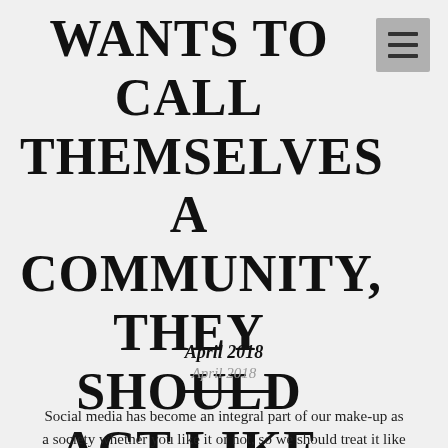WANTS TO CALL THEMSELVES A COMMUNITY, THEY SHOULD ACT LIKE ONE
April 2018
April 2018
Social media has become an integral part of our make-up as a society whether you like it or not, so we should treat it like we would any traditional community or society. It was reported by Facebook that 1.45 billion people